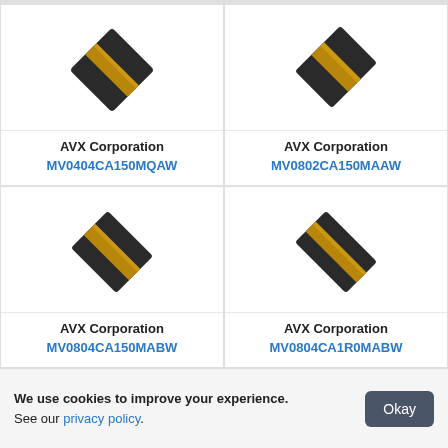[Figure (photo): Electronic component - AVX capacitor chip, dark grey square component with gold stripe, angled view]
AVX Corporation
MV0404CA150MQAW
[Figure (photo): Electronic component - AVX capacitor chip, dark grey square component with gold stripe, angled view]
AVX Corporation
MV0802CA150MAAW
[Figure (photo): Electronic component - AVX capacitor chip, dark grey square component with gold stripe, angled view]
AVX Corporation
MV0804CA150MABW
[Figure (photo): Electronic component - AVX capacitor chip, dark grey rectangular component with gold stripe, angled view]
AVX Corporation
MV0804CA1R0MABW
We use cookies to improve your experience. See our privacy policy.